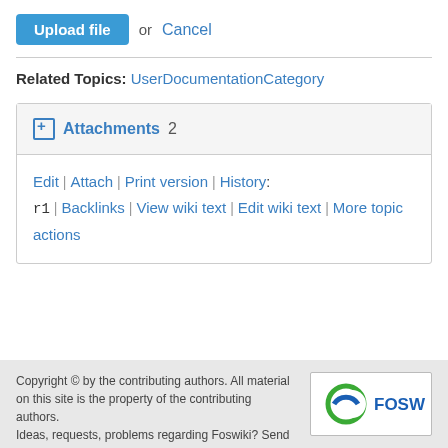Upload file or Cancel
Related Topics: UserDocumentationCategory
Attachments 2
Edit | Attach | Print version | History: r1 | Backlinks | View wiki text | Edit wiki text | More topic actions
Copyright © by the contributing authors. All material on this site is the property of the contributing authors. Ideas, requests, problems regarding Foswiki? Send feedback